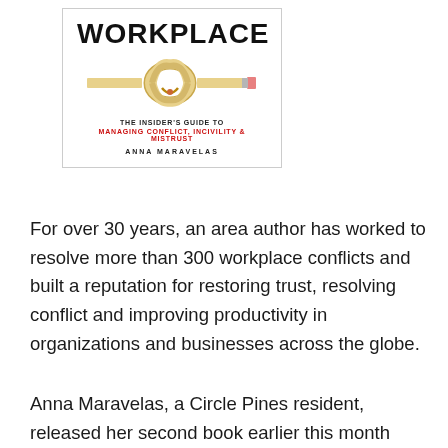[Figure (illustration): Book cover for a book with title WORKPLACE, subtitle THE INSIDER'S GUIDE TO MANAGING CONFLICT, INCIVILITY & MISTRUST by ANNA MARAVELAS, with an image of a knotted pencil in the center]
For over 30 years, an area author has worked to resolve more than 300 workplace conflicts and built a reputation for restoring trust, resolving conflict and improving productivity in organizations and businesses across the globe.
Anna Maravelas, a Circle Pines resident, released her second book earlier this month